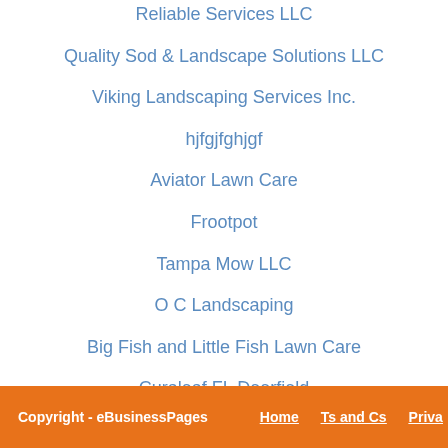Reliable Services LLC
Quality Sod & Landscape Solutions LLC
Viking Landscaping Services Inc.
hjfgjfghjgf
Aviator Lawn Care
Frootpot
Tampa Mow LLC
O C Landscaping
Big Fish and Little Fish Lawn Care
Curaleaf FL Deerfield
Copyright - eBusinessPages   Home   Ts and Cs   Priva